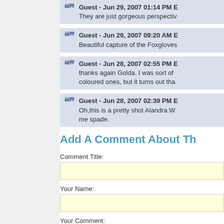Guest - Jun 29, 2007 01:14 PM E
They are just gorgeous perspectiv
Guest - Jun 29, 2007 09:20 AM E
Beautiful capture of the Foxgloves
Guest - Jun 28, 2007 02:55 PM E
thanks again Golda. I was sort of coloured ones, but it turns out tha
Guest - Jun 28, 2007 02:39 PM E
Oh,this is a pretty shot Alandra.W me spade.
Add A Comment About Th
Comment Title:
Your Name:
Your Comment: